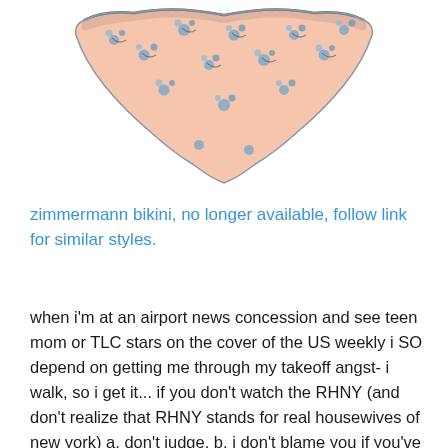[Figure (photo): Zimmermann floral bikini bottom with peach/blush background and blue flower print, triangular cut]
zimmermann bikini, no longer available, follow link for similar styles.
when i'm at an airport news concession and see teen mom or TLC stars on the cover of the US weekly i SO depend on getting me through my takeoff angst- i walk, so i get it... if you don't watch the RHNY (and don't realize that RHNY stands for real housewives of new york) a. don't judge, b. i don't blame you if you've already lost interest. c. i argue to say you're missing out on the 'real'